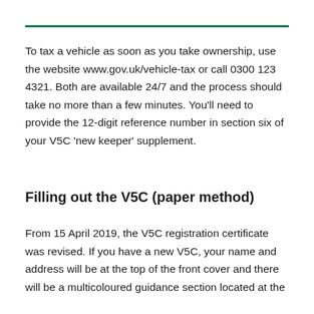To tax a vehicle as soon as you take ownership, use the website www.gov.uk/vehicle-tax or call 0300 123 4321. Both are available 24/7 and the process should take no more than a few minutes. You'll need to provide the 12-digit reference number in section six of your V5C 'new keeper' supplement.
Filling out the V5C (paper method)
From 15 April 2019, the V5C registration certificate was revised. If you have a new V5C, your name and address will be at the top of the front cover and there will be a multicoloured guidance section located at the